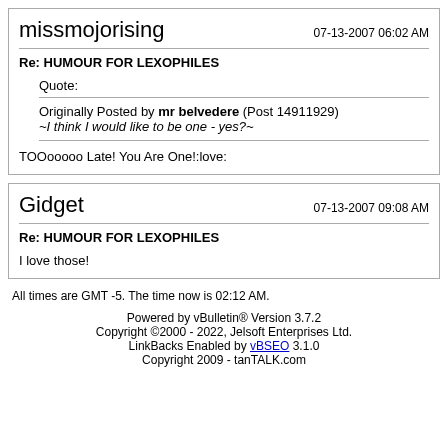missmojorising
07-13-2007 06:02 AM
Re: HUMOUR FOR LEXOPHILES
Quote:
Originally Posted by mr belvedere (Post 14911929)
~I think I would like to be one - yes?~
TOOooooo Late! You Are One!:love:
Gidget
07-13-2007 09:08 AM
Re: HUMOUR FOR LEXOPHILES
I love those!
All times are GMT -5. The time now is 02:12 AM.
Powered by vBulletin® Version 3.7.2
Copyright ©2000 - 2022, Jelsoft Enterprises Ltd.
LinkBacks Enabled by vBSEO 3.1.0
Copyright 2009 - tanTALK.com